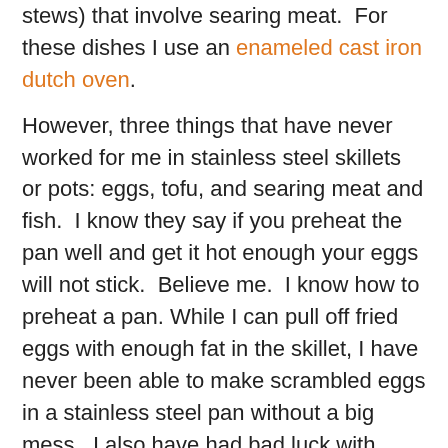stews) that involve searing meat.  For these dishes I use an enameled cast iron dutch oven.
However, three things that have never worked for me in stainless steel skillets or pots: eggs, tofu, and searing meat and fish.  I know they say if you preheat the pan well and get it hot enough your eggs will not stick.  Believe me.  I know how to preheat a pan. While I can pull off fried eggs with enough fat in the skillet, I have never been able to make scrambled eggs in a stainless steel pan without a big mess.  I also have had bad luck with frying tofu and searing meat (even with plenty of oil and high heat). You might have better luck than I have had with stainless steel if you invest in a nicer set, like All-Clad.
Care and clean up: Stainless steel requires no special care.  I stack mine dirty in the sink with wild abandon.  It is also usually very easy to clean up with a little soapy hot water. Even if food gets majorly stuck to your stainless steel, I find it is not too bad to clean.  Of course, you can soak it.  I often put a little water (or vinegar, if I burnt food on very badly) in the pan while it is still hot.  For tough stains, Bon-